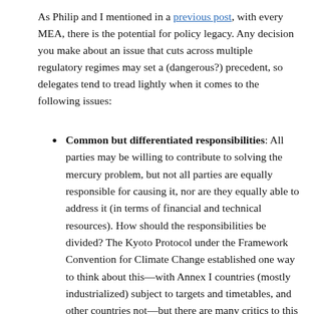As Philip and I mentioned in a previous post, with every MEA, there is the potential for policy legacy. Any decision you make about an issue that cuts across multiple regulatory regimes may set a (dangerous?) precedent, so delegates tend to tread lightly when it comes to the following issues:
Common but differentiated responsibilities: All parties may be willing to contribute to solving the mercury problem, but not all parties are equally responsible for causing it, nor are they equally able to address it (in terms of financial and technical resources). How should the responsibilities be divided? The Kyoto Protocol under the Framework Convention for Climate Change established one way to think about this—with Annex I countries (mostly industrialized) subject to targets and timetables, and other countries not—but there are many critics to this approach. Will the mercury treaty take a different slice at emissions reduction?